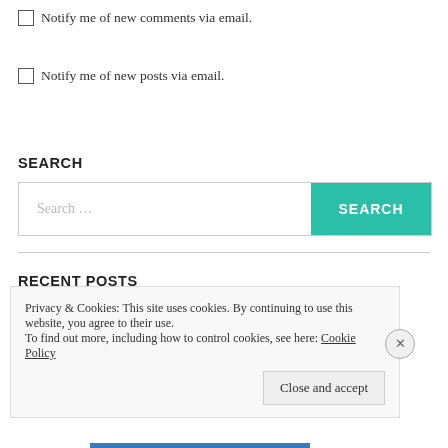Notify me of new comments via email.
Notify me of new posts via email.
SEARCH
[Figure (other): Search input field with placeholder text 'Search ...' and a teal 'SEARCH' button]
RECENT POSTS
Privacy & Cookies: This site uses cookies. By continuing to use this website, you agree to their use.
To find out more, including how to control cookies, see here: Cookie Policy
Close and accept